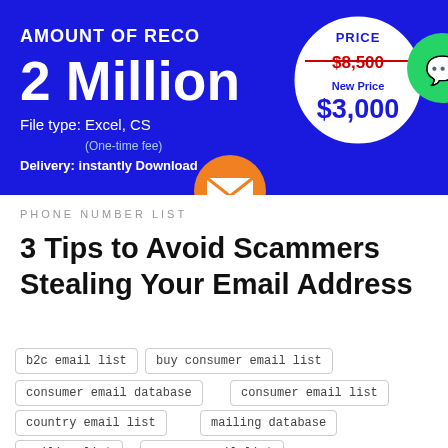[Figure (infographic): Blue promotional banner showing 'AMOUNT OF RECORDS: 2 Million', file type Excel/CSV, one-time fee, delivery instantly download, with a white circle price badge showing original price $8,500 struck through and new price $3,000, plus various social media icon overlays (WhatsApp, phone, email, LINE, Viber, close button)]
PHONE NUMBER LIST
3 Tips to Avoid Scammers Stealing Your Email Address
b2c email list
buy consumer email list
consumer email database
consumer email list
country email list
mailing database
mailing list
person email list